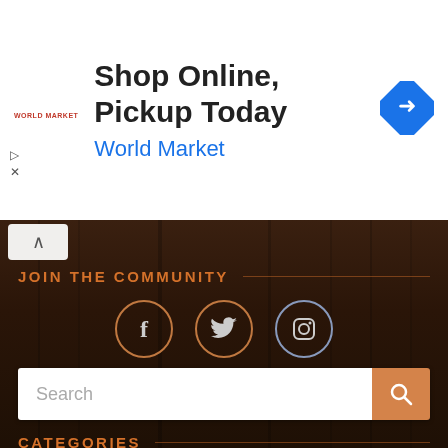[Figure (screenshot): Advertisement banner for World Market showing 'Shop Online, Pickup Today' with logo and navigation icon]
JOIN THE COMMUNITY
[Figure (infographic): Social media icons: Facebook (f), Twitter (bird), Instagram (camera) in circular borders on dark wood background]
Search
CATEGORIES
Album review